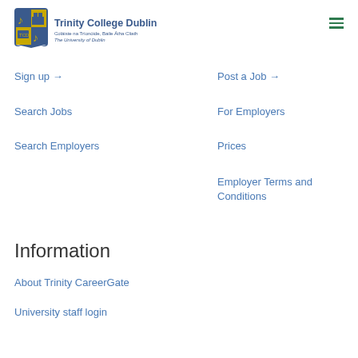[Figure (logo): Trinity College Dublin crest/shield logo with blue and gold heraldic design]
Trinity College Dublin
Coláiste na Tríonóide, Baile Átha Cliath
The University of Dublin
Sign up →
Post a Job →
Search Jobs
For Employers
Search Employers
Prices
Employer Terms and Conditions
Information
About Trinity CareerGate
University staff login